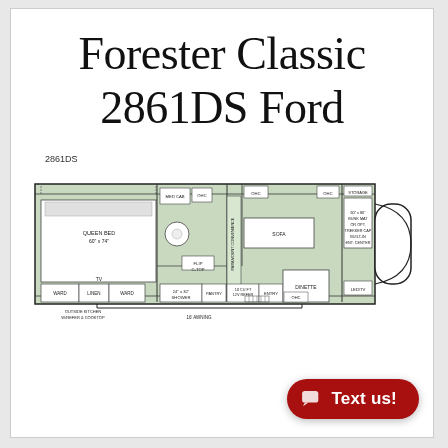Forester Classic 2861DS Ford
2861DS
[Figure (engineering-diagram): Floor plan diagram of the Forester Classic 2861DS Ford RV/motorhome showing layout including: Queen Bed 60" x 74", MED CAB, OHC, Paramount Convenience, Flip C-Top, TV, WARD, LINEN, WARD, 24" x 32" Shower, Pantry, 10 CU FT 12V Refer, Entry, OHC, Sofa, Dinette, OHC, Storage, 60" x 80" Bunk Mat or Opt. Trekker Cap Built-in Ent. Center, LED/TV. Outside Kitchen W/Refer & Cooktop, 16' Awning.]
Text us!